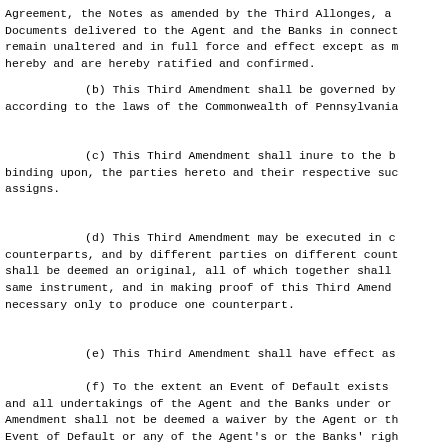(a) All terms, conditions, provisions and the Agreement, the Notes as amended by the Third Allonges, and Documents delivered to the Agent and the Banks in connection remain unaltered and in full force and effect except as modified hereby and are hereby ratified and confirmed.
(b) This Third Amendment shall be governed by according to the laws of the Commonwealth of Pennsylvania.
(c) This Third Amendment shall inure to the benefit of, and be binding upon, the parties hereto and their respective successors and assigns.
(d) This Third Amendment may be executed in counterparts, and by different parties on different counterparts, each shall be deemed an original, all of which together shall constitute the same instrument, and in making proof of this Third Amendment it shall be necessary only to produce one counterpart.
(e) This Third Amendment shall have effect as of
(f) To the extent an Event of Default exists and all undertakings of the Agent and the Banks under or pursuant to this Amendment shall not be deemed a waiver by the Agent or the Banks of such Event of Default or any of the Agent's or the Banks' rights and remedies under the Loan Agreement and/or applicable law; and the Banks hereby reserve all such rights and remedies.